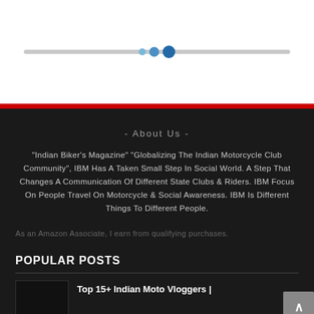[Figure (other): White header section with a horizontal progress bar and three pagination dots (small light blue, medium blue, large dark blue) overlaid on a grey bar]
- About Us -
"Indian Biker's Magazine" "Globalizing The Indian Motorcycle Club Community", IBM Has A Taken Small Step In Social World. A Step That Changes A Communication Of Different State Clubs & Riders. IBM Focus On People Travel On Motorcycle & Social Awareness. IBM Is Different Things To Different People.
As an Amazon Associate, I earn from qualifying purchases.
POPULAR POSTS
Top 15+ Indian Moto Vloggers |